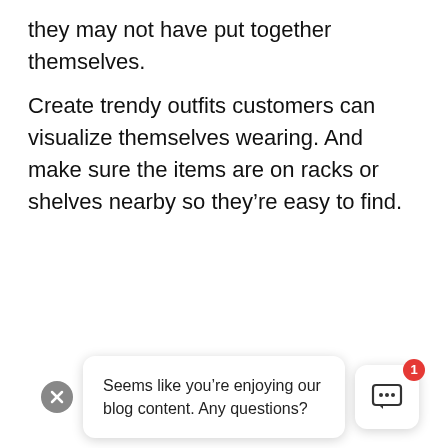they may not have put together themselves.
Create trendy outfits customers can visualize themselves wearing. And make sure the items are on racks or shelves nearby so they’re easy to find.
[Figure (screenshot): Chat widget popup at bottom of page showing a close (X) button, a message bubble reading 'Seems like you’re enjoying our blog content. Any questions?', and a chat icon button with a red badge showing '1'.]